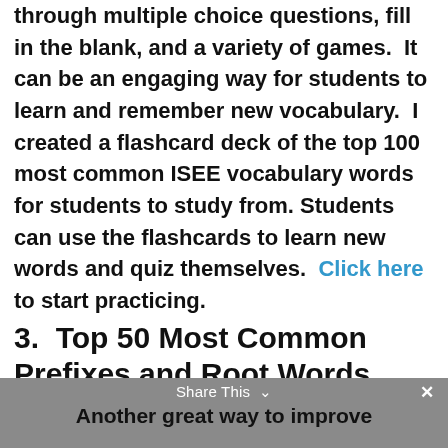through multiple choice questions, fill in the blank, and a variety of games.  It can be an engaging way for students to learn and remember new vocabulary.  I created a flashcard deck of the top 100 most common ISEE vocabulary words for students to study from. Students can use the flashcards to learn new words and quiz themselves.  Click here to start practicing.
3.  Top 50 Most Common Prefixes and Root Words
Share This  ∨   ×   Another great way to improve